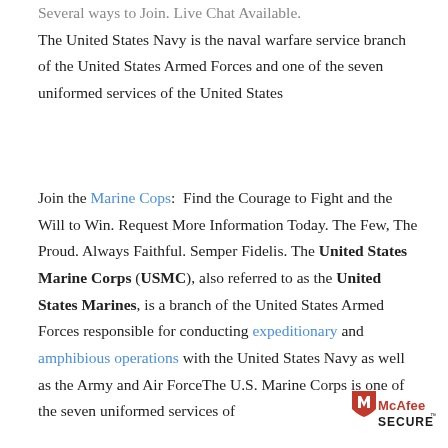Several ways to Join. Live Chat Available. The United States Navy is the naval warfare service branch of the United States Armed Forces and one of the seven uniformed services of the United States
Join the Marine Cops:  Find the Courage to Fight and the Will to Win. Request More Information Today. The Few, The Proud. Always Faithful. Semper Fidelis. The United States Marine Corps (USMC), also referred to as the United States Marines, is a branch of the United States Armed Forces responsible for conducting expeditionary and amphibious operations with the United States Navy as well as the Army and Air ForceThe U.S. Marine Corps is one of the seven uniformed services of
[Figure (logo): McAfee SECURE logo with red shield icon and bold red/dark text]